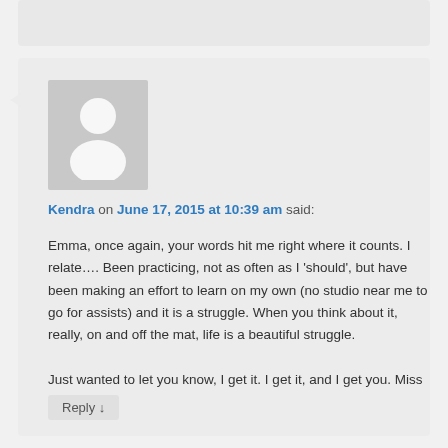[Figure (illustration): Generic user avatar placeholder: grey rectangle with white silhouette of a person (head and shoulders)]
Kendra on June 17, 2015 at 10:39 am said:
Emma, once again, your words hit me right where it counts. I relate…. Been practicing, not as often as I 'should', but have been making an effort to learn on my own (no studio near me to go for assists) and it is a struggle. When you think about it, really, on and off the mat, life is a beautiful struggle.

Just wanted to let you know, I get it. I get it, and I get you. Miss you lady!!
Reply ↓